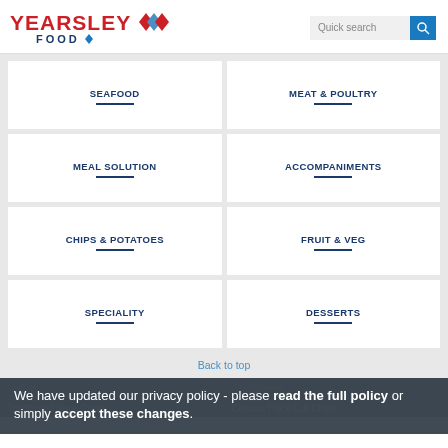[Figure (logo): Yearsley Food logo with red text and diamond shapes]
SEAFOOD
MEAT & POULTRY
MEAL SOLUTION
ACCOMPANIMENTS
CHIPS & POTATOES
FRUIT & VEG
SPECIALITY
DESSERTS
Back to top
Mydibel
4x 2.5kg
Traditional Sure Crisp
Albert Bartlett
4x 2.5kg
Classic Thick Cut Chips
We have updated our privacy policy - please read the full policy or simply accept these changes.